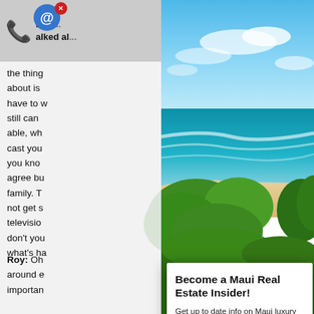[Figure (photo): Beach and ocean scene with blue sky, turquoise water, sandy beach, and green vegetation in foreground. Maui, Hawaii style coastal landscape.]
Betty... talked al...
the thing about is have to w still can able, wh cast you you kno agree bu family. T not get s televisio don't yo what's ha
Become a Maui Real Estate Insider!
Get up to date info on Maui luxury living, top local restaurants, and much more!
Name
Email
Join Now!
Roy: Oh around e importan